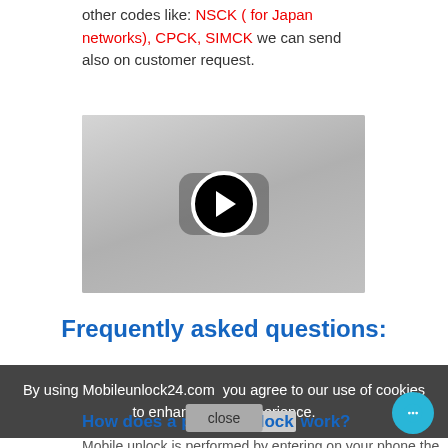other codes like: NSCK ( for Japan networks), CPCK, SIMCK we can send also on customer request.
[Figure (screenshot): Video player thumbnail showing a YouTube-style play button (dark rounded rectangle with a white-bordered black circle containing a white play triangle) on a gray background.]
Frequently asked questions:
By using Mobileunlock24.com you agree to our use of cookies to enhance your experience.
How does a phone unlock work?
Mobile unlock is performed by entering on your phone the unique